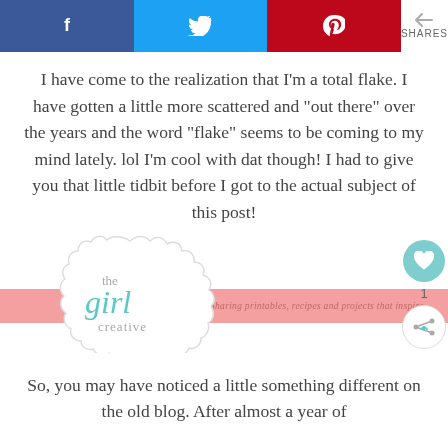[Figure (screenshot): Social sharing bar with Facebook, Twitter, Pinterest buttons and SHARES label]
I have come to the realization that I’m a total flake. I have gotten a little more scattered and “out there” over the years and the word “flake” seems to be coming to my mind lately. lol I’m cool with dat though! I had to give you that little tidbit before I got to the actual subject of this post!
[Figure (logo): The Girl Creative logo with ribbon banner: Sharing printables, recipes and projects that inspire]
So, you may have noticed a little something different on the old blog. After almost a year of